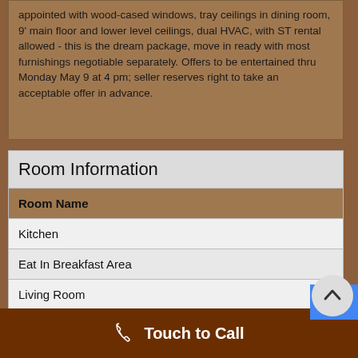appointed with wood-cased windows, tray ceilings in dining room, 9' main floor and lower level ceilings, dual HVAC, with ST rental allowed - this is the dream package, move in ready with most furnishings negotiable separately. Offers to be entertained thru Monday May 9 at 4 pm; seller reserves right to take an acceptable offer in advance.
Room Information
| Room Name |
| --- |
| Kitchen |
| Eat In Breakfast Area |
| Living Room |
Touch to Call